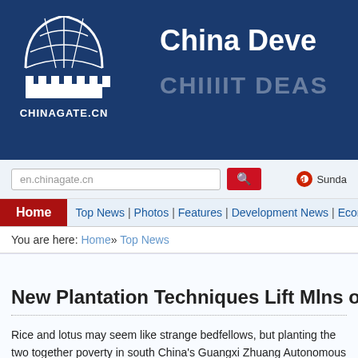[Figure (logo): Chinagate.cn logo with globe icon and text CHINAGATE.CN on dark blue background with 'China Deve' header text]
China Deve
en.chinagate.cn
Sunda
Home | Top News | Photos | Features | Development News | Econo
You are here: Home» Top News
New Plantation Techniques Lift Mlns o
Rice and lotus may seem like strange bedfellows, but planting the two together poverty in south China's Guangxi Zhuang Autonomous Region.
Beneath the golden rice lie white lotus roots in Binyang County, in a scene acco "Father of Hybrid Rice".
In the course of...